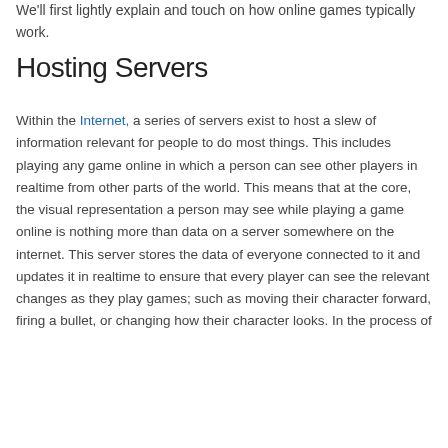We'll first lightly explain and touch on how online games typically work.
Hosting Servers
Within the Internet, a series of servers exist to host a slew of information relevant for people to do most things. This includes playing any game online in which a person can see other players in realtime from other parts of the world. This means that at the core, the visual representation a person may see while playing a game online is nothing more than data on a server somewhere on the internet. This server stores the data of everyone connected to it and updates it in realtime to ensure that every player can see the relevant changes as they play games; such as moving their character forward, firing a bullet, or changing how their character looks. In the process of